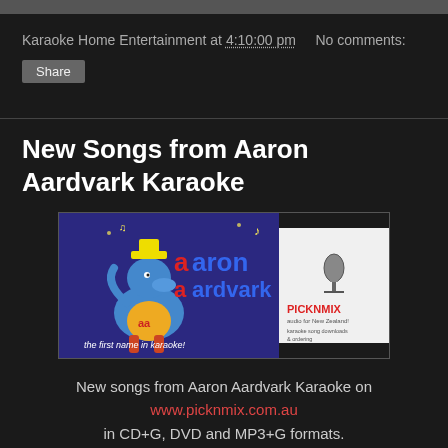[Figure (screenshot): Top gray bar element from previous post/section]
Karaoke Home Entertainment at 4:10:00 pm    No comments:
Share
New Songs from Aaron Aardvark Karaoke
[Figure (illustration): Aaron Aardvark Karaoke banner image showing cartoon aardvark character and PICKNMIX logo]
New songs from Aaron Aardvark Karaoke on www.picknmix.com.au in CD+G, DVD and MP3+G formats.
21 Savage Offset Metro Boomin Travis Scott - Ghostface